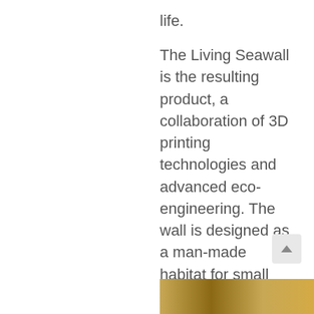life.
The Living Seawall is the resulting product, a collaboration of 3D printing technologies and advanced eco-engineering. The wall is designed as a man-made habitat for small aquatic life like mollusks, mangroves dwelling creatures and coral polyps. It provides a safe, secure, and familiar environment that can replace damaged/removed natural reefs on foreshores around the developed world.
[Figure (photo): Bottom strip showing a photo, likely of marine/reef environment with golden-brown tones]